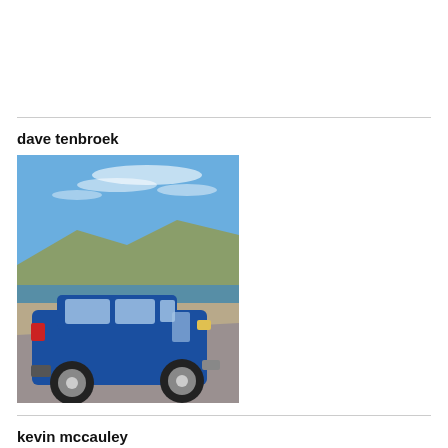dave tenbroek
[Figure (photo): Blue station wagon / estate car parked on a road with a lake and mountains in the background under a blue sky with wispy clouds.]
kevin mccauley
[Figure (photo): Outdoor landscape photo with dramatic cloudy sky, mountains and trees visible at the bottom.]